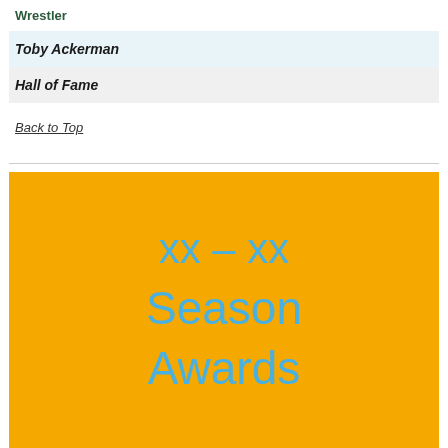| Wrestler |
| --- |
| Toby Ackerman |
| Hall of Fame |
Back to Top
[Figure (other): Gold/yellow background box with blue text reading 'xx – xx Season Awards']